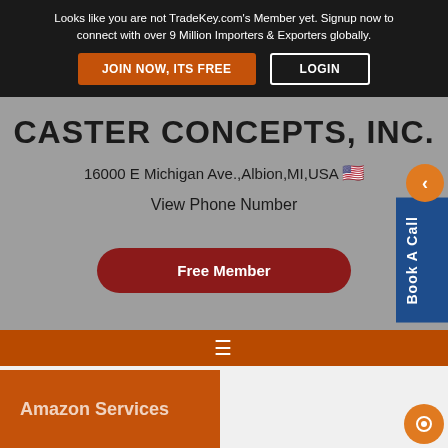Looks like you are not TradeKey.com's Member yet. Signup now to connect with over 9 Million Importers & Exporters globally.
CASTER CONCEPTS, INC.
16000 E Michigan Ave.,Albion,MI,USA
View Phone Number
Free Member
Amazon Services